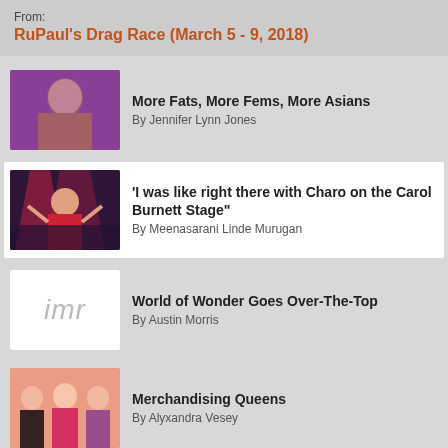From:
RuPaul's Drag Race (March 5 - 9, 2018)
More Fats, More Fems, More Asians
By Jennifer Lynn Jones
'I was like right there with Charo on the Carol Burnett Stage"
By Meenasarani Linde Murugan
World of Wonder Goes Over-The-Top
By Austin Morris
Merchandising Queens
By Alyxandra Vesey